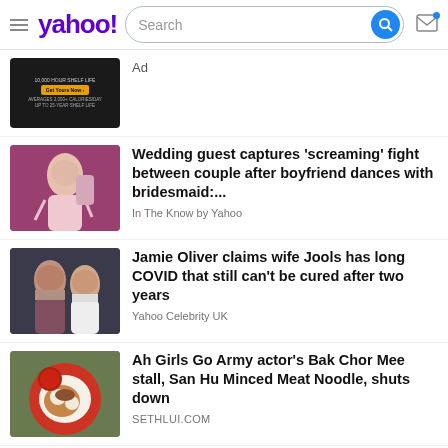Yahoo! Search
[Figure (screenshot): Advertisement thumbnail - dark background with emergency food product ad]
Ad
[Figure (photo): Wedding dance scene - woman in pink dress dancing at wedding reception]
Wedding guest captures 'screaming' fight between couple after boyfriend dances with bridesmaid:...
In The Know by Yahoo
[Figure (photo): Jamie Oliver and wife Jools posing together]
Jamie Oliver claims wife Jools has long COVID that still can't be cured after two years
Yahoo Celebrity UK
[Figure (photo): Bowl of Bak Chor Mee noodles on red plate with soup]
Ah Girls Go Army actor's Bak Chor Mee stall, San Hu Minced Meat Noodle, shuts down
SETHLUI.COM